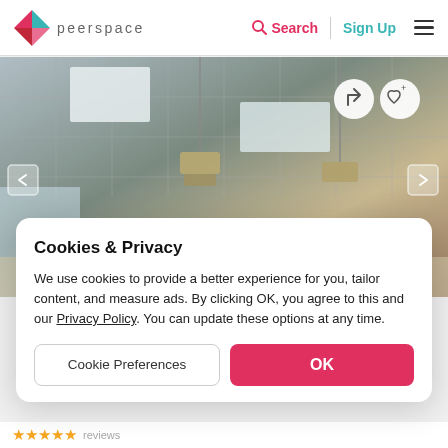peerspace — Search | Sign Up
[Figure (photo): Interior ceiling photo showing suspended ceiling tiles, pendant lights, and recessed lighting in an office or event space]
Cookies & Privacy
We use cookies to provide a better experience for you, tailor content, and measure ads. By clicking OK, you agree to this and our Privacy Policy. You can update these options at any time.